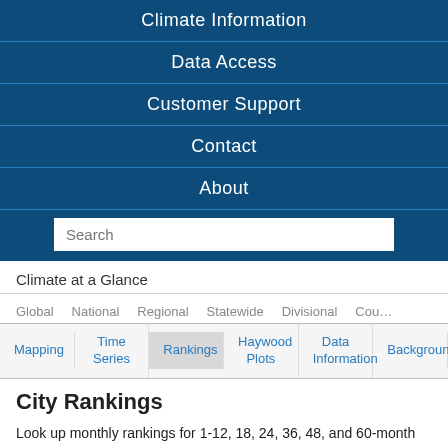Climate Information
Data Access
Customer Support
Contact
About
Search
Climate at a Glance
Global   National   Regional   Statewide   Divisional   Cou…
Mapping   Time Series   Rankings   Haywood Plots   Data Information   Background
City Rankings
Look up monthly rankings for 1-12, 18, 24, 36, 48, and 60-month time periods using the options below. Data and statistics are as of July 2023. For more information, please see Climate at a...